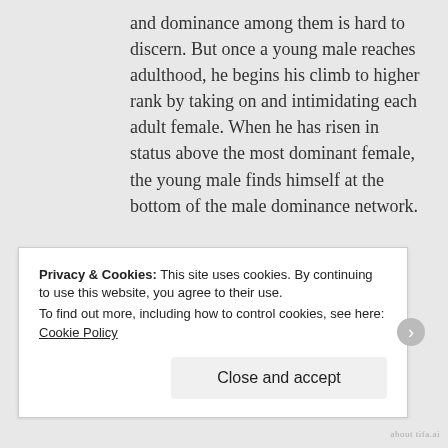and dominance among them is hard to discern. But once a young male reaches adulthood, he begins his climb to higher rank by taking on and intimidating each adult female. When he has risen in status above the most dominant female, the young male finds himself at the bottom of the male dominance network.
Female dominance doesn't have this feature.
★ Like
Privacy & Cookies: This site uses cookies. By continuing to use this website, you agree to their use. To find out more, including how to control cookies, see here: Cookie Policy
Close and accept